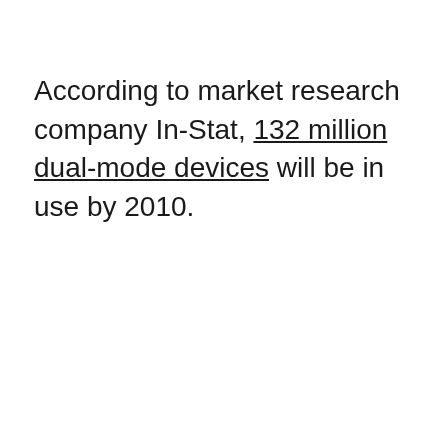According to market research company In-Stat, 132 million dual-mode devices will be in use by 2010.